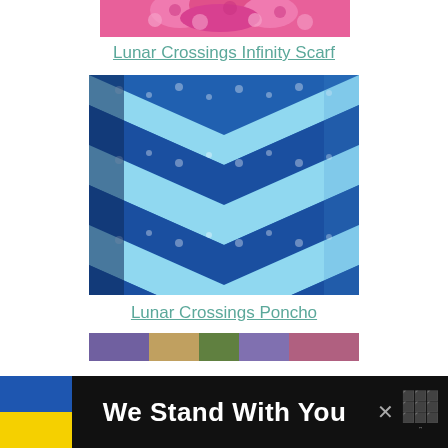[Figure (photo): Partial top view of a pink/hot-pink crocheted infinity scarf on a white background]
Lunar Crossings Infinity Scarf
[Figure (photo): Close-up photo of a blue and light blue chevron/zigzag pattern crocheted poncho with lacy texture]
Lunar Crossings Poncho
[Figure (photo): Partial view of a colorful crocheted item at the bottom of the page]
We Stand With You